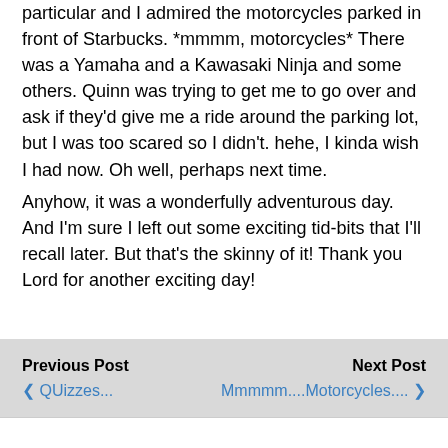particular and I admired the motorcycles parked in front of Starbucks. *mmmm, motorcycles* There was a Yamaha and a Kawasaki Ninja and some others. Quinn was trying to get me to go over and ask if they'd give me a ride around the parking lot, but I was too scared so I didn't. hehe, I kinda wish I had now. Oh well, perhaps next time.
Anyhow, it was a wonderfully adventurous day. And I'm sure I left out some exciting tid-bits that I'll recall later. But that's the skinny of it! Thank you Lord for another exciting day!
Previous Post ❮ QUizzes...    Next Post Mmmmm....Motorcycles.... ❯